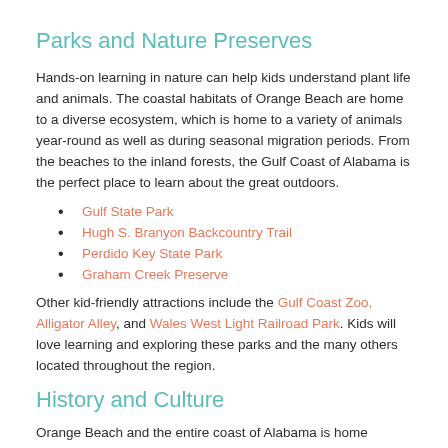Parks and Nature Preserves
Hands-on learning in nature can help kids understand plant life and animals. The coastal habitats of Orange Beach are home to a diverse ecosystem, which is home to a variety of animals year-round as well as during seasonal migration periods. From the beaches to the inland forests, the Gulf Coast of Alabama is the perfect place to learn about the great outdoors.
Gulf State Park
Hugh S. Branyon Backcountry Trail
Perdido Key State Park
Graham Creek Preserve
Other kid-friendly attractions include the Gulf Coast Zoo, Alligator Alley, and Wales West Light Railroad Park. Kids will love learning and exploring these parks and the many others located throughout the region.
History and Culture
Orange Beach and the entire coast of Alabama is home